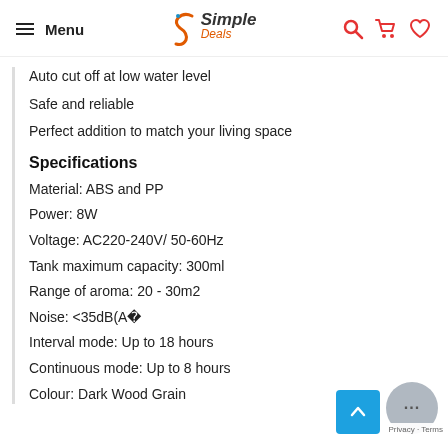Menu | Simple Deals | [search, cart, wishlist icons]
Auto cut off at low water level
Safe and reliable
Perfect addition to match your living space
Specifications
Material: ABS and PP
Power: 8W
Voltage: AC220-240V/ 50-60Hz
Tank maximum capacity: 300ml
Range of aroma: 20 - 30m2
Noise: <35dB(A)
Interval mode: Up to 18 hours
Continuous mode: Up to 8 hours
Colour: Dark Wood Grain